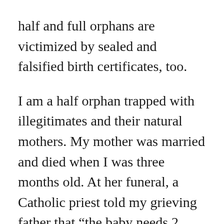half and full orphans are victimized by sealed and falsified birth certificates, too.

I am a half orphan trapped with illegitimates and their natural mothers. My mother was married and died when I was three months old. At her funeral, a Catholic priest told my grieving father that “the baby needs 2 parents”. What about